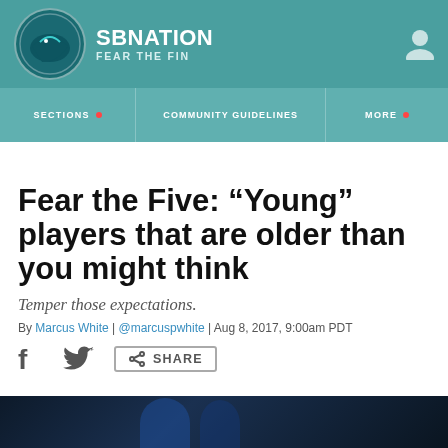SBNATION — FEAR THE FIN
SECTIONS | COMMUNITY GUIDELINES | MORE
Fear the Five: “Young” players that are older than you might think
Temper those expectations.
By Marcus White | @marcuspwhite | Aug 8, 2017, 9:00am PDT
[Figure (other): Share bar with Facebook, Twitter, and Share icons]
[Figure (photo): Bottom photo strip showing hockey players]